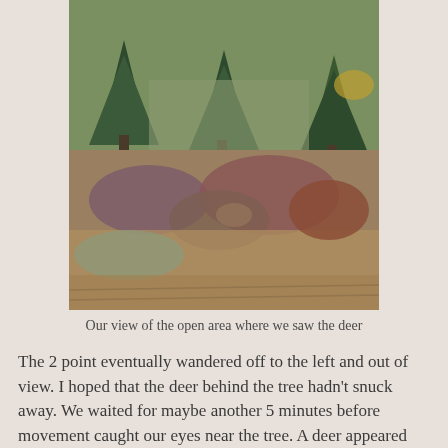[Figure (photo): A natural outdoor scene showing an open area with dry brush, tall grasses, and shrubs in autumn colors (browns, purples, reds), with evergreen trees visible in the background. A deer may be camouflaged within the brush.]
Our view of the open area where we saw the deer
The 2 point eventually wandered off to the left and out of view. I hoped that the deer behind the tree hadn't snuck away. We waited for maybe another 5 minutes before movement caught our eyes near the tree. A deer appeared and began to walk directly away from us. Even to the naked eye, we could tell it